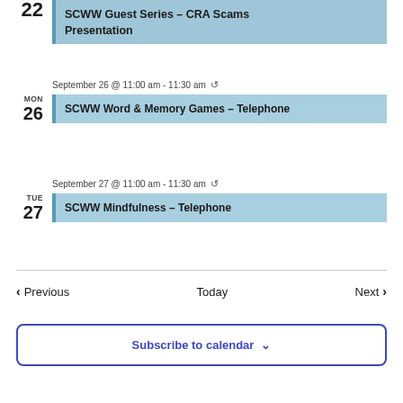22 SCWW Guest Series – CRA Scams Presentation
MON 26 | September 26 @ 11:00 am - 11:30 am | SCWW Word & Memory Games – Telephone
TUE 27 | September 27 @ 11:00 am - 11:30 am | SCWW Mindfulness – Telephone
Previous  Today  Next
Subscribe to calendar